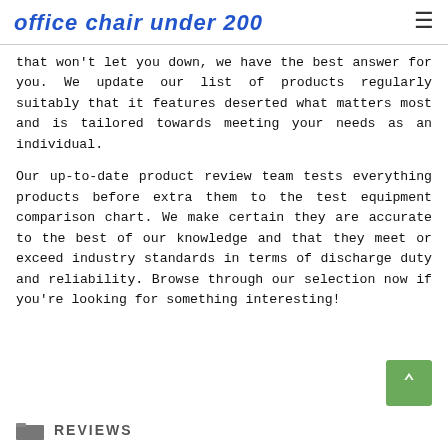office chair under 200
that won't let you down, we have the best answer for you. We update our list of products regularly suitably that it features deserted what matters most and is tailored towards meeting your needs as an individual.
Our up-to-date product review team tests everything products before extra them to the test equipment comparison chart. We make certain they are accurate to the best of our knowledge and that they meet or exceed industry standards in terms of discharge duty and reliability. Browse through our selection now if you're looking for something interesting!
REVIEWS